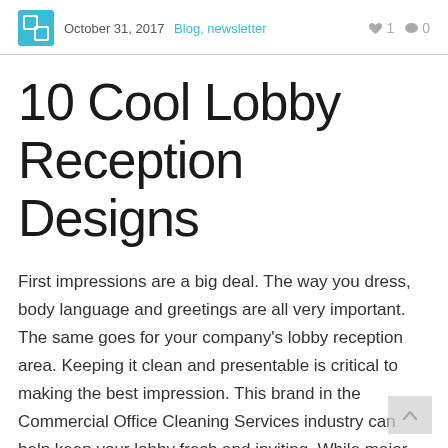October 31, 2017  Blog, newsletter  ♥ 1  ● 0
10 Cool Lobby Reception Designs
First impressions are a big deal. The way you dress, body language and greetings are all very important. The same goes for your company's lobby reception area. Keeping it clean and presentable is critical to making the best impression. This brand in the Commercial Office Cleaning Services industry can help keep your lobby fresh and inviting. While major renovations are sometimes necessary for an office